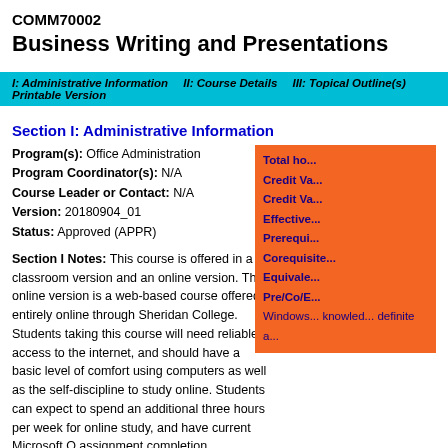COMM70002
Business Writing and Presentations
I: Administrative Information   II: Course Details   III: Topical Outline(s)   Printable Version
Section I: Administrative Information
Program(s): Office Administration
Program Coordinator(s): N/A
Course Leader or Contact: N/A
Version: 20180904_01
Status: Approved (APPR)
Total ho...
Credit Va...
Credit Va...
Effective...
Prerequi...
Corequisite...
Equivale...
Pre/Co/E...
Windows... knowledge... definite a...
Section I Notes: This course is offered in a classroom version and an online version. The online version is a web-based course offered entirely online through Sheridan College. Students taking this course will need reliable access to the internet, and should have a basic level of comfort using computers as well as the self-discipline to study online. Students can expect to spend an additional three hours per week for online study, and have current Microsoft Office for assignment completion.
Section II: Course Details
Detailed Description